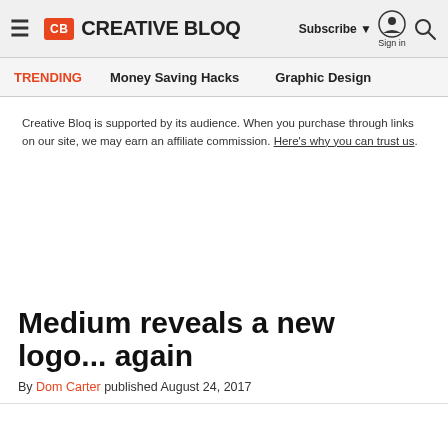Creative Bloq — Subscribe | Sign in | Search
TRENDING  Money Saving Hacks  Graphic Design
Creative Bloq is supported by its audience. When you purchase through links on our site, we may earn an affiliate commission. Here's why you can trust us.
Medium reveals a new logo... again
By Dom Carter published August 24, 2017